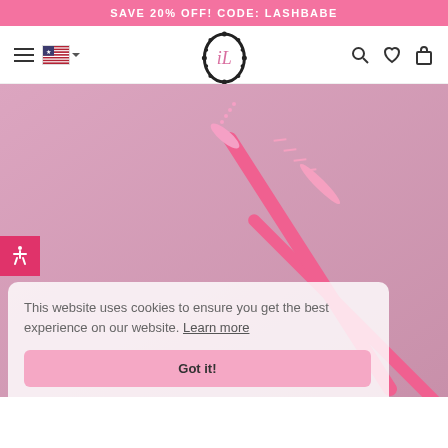SAVE 20% OFF! CODE: LASHBABE
[Figure (logo): iLevel Lab logo — ornate oval frame with stylized 'iL' initials, with 'iLEVEL LAB' text below]
[Figure (photo): Pink mascara wand / spoolie brush angled diagonally on a pink background]
[Figure (infographic): Blue accessibility icon (person with arms out) on dark pink/red square button]
This website uses cookies to ensure you get the best experience on our website. Learn more
Got it!